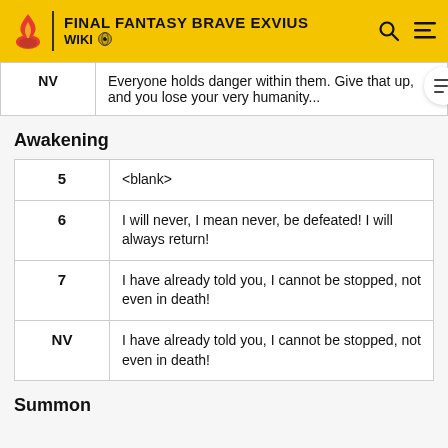FINAL FANTASY BRAVE EXVIUS WIKI
| Rank | Quote |
| --- | --- |
| NV | Everyone holds danger within them. Give that up, and you lose your very humanity... |
Awakening
| Rank | Quote |
| --- | --- |
| 5 | <blank> |
| 6 | I will never, I mean never, be defeated! I will always return! |
| 7 | I have already told you, I cannot be stopped, not even in death! |
| NV | I have already told you, I cannot be stopped, not even in death! |
Summon